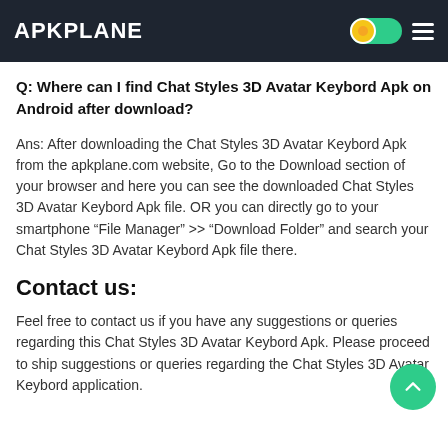APKPLANE
Q: Where can I find Chat Styles 3D Avatar Keybord Apk on Android after download?
Ans: After downloading the Chat Styles 3D Avatar Keybord Apk from the apkplane.com website, Go to the Download section of your browser and here you can see the downloaded Chat Styles 3D Avatar Keybord Apk file. OR you can directly go to your smartphone “File Manager” >> “Download Folder” and search your Chat Styles 3D Avatar Keybord Apk file there.
Contact us:
Feel free to contact us if you have any suggestions or queries regarding this Chat Styles 3D Avatar Keybord Apk. Please proceed to ship suggestions or queries regarding the Chat Styles 3D Avatar Keybord application.